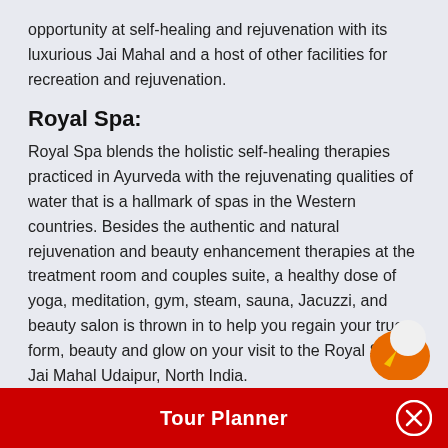opportunity at self-healing and rejuvenation with its luxurious Jai Mahal and a host of other facilities for recreation and rejuvenation.
Royal Spa:
Royal Spa blends the holistic self-healing therapies practiced in Ayurveda with the rejuvenating qualities of water that is a hallmark of spas in the Western countries. Besides the authentic and natural rejuvenation and beauty enhancement therapies at the treatment room and couples suite, a healthy dose of yoga, meditation, gym, steam, sauna, Jacuzzi, and beauty salon is thrown in to help you regain your true form, beauty and glow on your visit to the Royal Spa, Jai Mahal Udaipur, North India.
You too can enjoy the relaxing and rejuvenating...
[Figure (other): Orange circular icon UI button]
Tour Planner